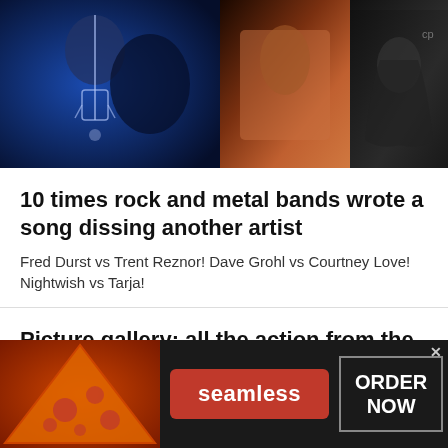[Figure (photo): Three-panel photo strip: left panel shows a performer with necklace/cross in blue stage lighting, center panel shows a performer's arm/body with warm orange lighting, right panel shows a performer with long dark hair in black and white.]
10 times rock and metal bands wrote a song dissing another artist
Fred Durst vs Trent Reznor! Dave Grohl vs Courtney Love! Nightwish vs Tarja!
Picture gallery: all the action from the Taylor Hawkins tribute concert
By Fraser Lewry published about 4 hours ago
[Figure (photo): Seamless food delivery advertisement banner with pizza image on left, red Seamless logo button in center, and 'ORDER NOW' box on right, on dark background.]